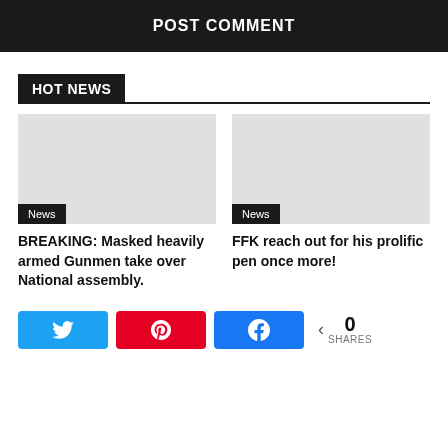POST COMMENT
HOT NEWS
[Figure (other): Article image placeholder (grey box) with News badge]
BREAKING: Masked heavily armed Gunmen take over National assembly.
[Figure (other): Article image placeholder (grey box) with News badge]
FFK reach out for his prolific pen once more!
0 SHARES (social share buttons: Twitter, Pinterest, Facebook)